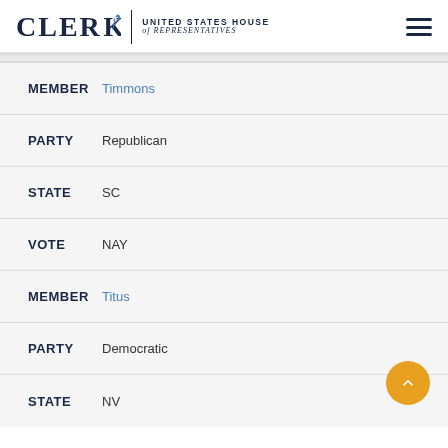CLERK United States House of Representatives
MEMBER Timmons
PARTY Republican
STATE SC
VOTE NAY
MEMBER Titus
PARTY Democratic
STATE NV